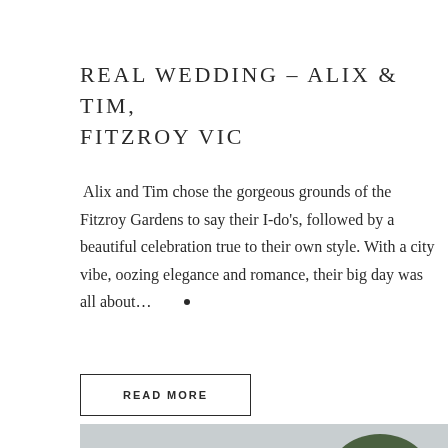REAL WEDDING – ALIX & TIM, FITZROY VIC
Alix and Tim chose the gorgeous grounds of the Fitzroy Gardens to say their I-do's, followed by a beautiful celebration true to their own style. With a city vibe, oozing elegance and romance, their big day was all about…
READ MORE
[Figure (photo): Couple kissing outdoors with trees in background against a light sky]